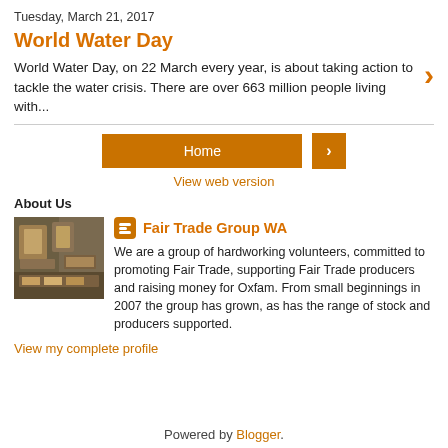Tuesday, March 21, 2017
World Water Day
World Water Day, on 22 March every year, is about taking action to tackle the water crisis. There are over 663 million people living with...
Home
View web version
About Us
[Figure (photo): Photo of fair trade goods display at a market stall or shop]
Fair Trade Group WA
We are a group of hardworking volunteers, committed to promoting Fair Trade, supporting Fair Trade producers and raising money for Oxfam. From small beginnings in 2007 the group has grown, as has the range of stock and producers supported.
View my complete profile
Powered by Blogger.